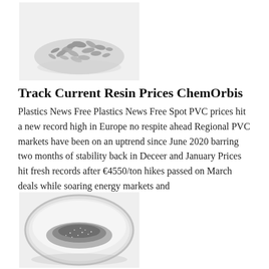[Figure (photo): Grayscale photo of a pile of small dried plant seeds or flakes on a white background]
Track Current Resin Prices ChemOrbis
Plastics News Free Plastics News Free Spot PVC prices hit a new record high in Europe no respite ahead Regional PVC markets have been on an uptrend since June 2020 barring two months of stability back in Deceer and January Prices hit fresh records after €4550/ton hikes passed on March deals while soaring energy markets and
[Figure (photo): Grayscale photo of fine metallic or glitter powder in a round bowl or dish]